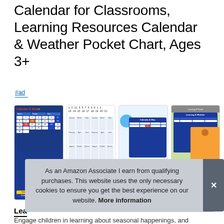Calendar for Classrooms, Learning Resources Calendar & Weather Pocket Chart, Ages 3+
#ad
[Figure (photo): Four thumbnail images of a classroom calendar and weather pocket chart product showing a blue calendar chart, a number grid, partial product view with blue shapes, and a child holding the chart.]
As an Amazon Associate I earn from qualifying purchases. This website uses the only necessary cookies to ensure you get the best experience on our website. More information
Lea
Engage children in learning about seasonal happenings, and